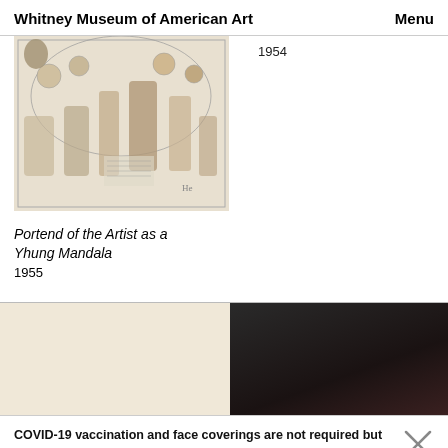Whitney Museum of American Art   Menu
[Figure (photo): Artwork showing mythological and cosmic collage imagery with figures and celestial elements, framed in a rectangular border]
1954
Portend of the Artist as a Yhung Mandala
1955
[Figure (photo): Left: light cream/beige colored artwork. Right: dark abstract painting with very dark browns and blacks]
COVID-19 vaccination and face coverings are not required but strongly recommended. Book tickets in advance and review our visitor policies.